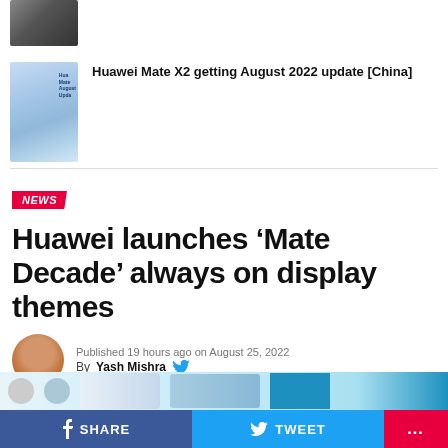[Figure (photo): Thumbnail of a white/silver car]
[Figure (photo): Thumbnail of Huawei Mate X2 phones with August update branding]
Huawei Mate X2 getting August 2022 update [China]
NEWS
Huawei launches ‘Mate Decade’ always on display themes
Published 19 hours ago on August 25, 2022
By Yash Mishra
[Figure (photo): Bottom image strip showing phones and colored panels]
SHARE   TWEET   ...